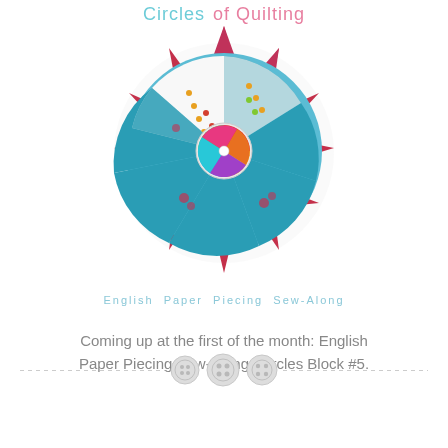Circles  of Quilting
[Figure (photo): A decorative quilted circular block in the Dresden Plate pattern, made with colorful fabrics in teal, white with dots, and red floral prints, with a small colorful pinwheel circle in the center.]
English Paper Piecing Sew-Along
Coming up at the first of the month: English Paper Piecing Sew-Along, Circles Block #5.
[Figure (illustration): Three decorative button icons arranged horizontally on a dashed divider line]